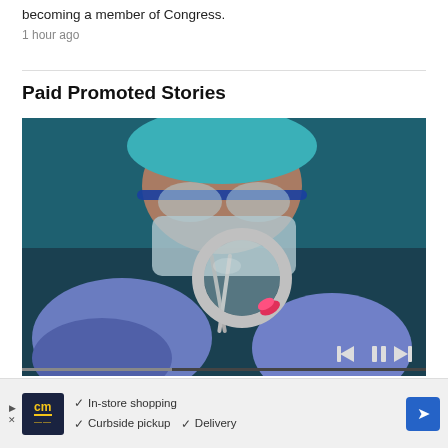becoming a member of Congress.
1 hour ago
Paid Promoted Stories
[Figure (photo): A person wearing surgical blue gloves, face mask, protective eyewear and surgical cap, examining a pink pill with a magnifying glass. Video player controls (skip back, pause, skip forward) visible at the bottom right. A video progress bar is visible at the bottom.]
[Figure (infographic): Advertisement banner: cm logo on dark background, checkmarks listing In-store shopping, Curbside pickup, Delivery, with a blue arrow icon on the right.]